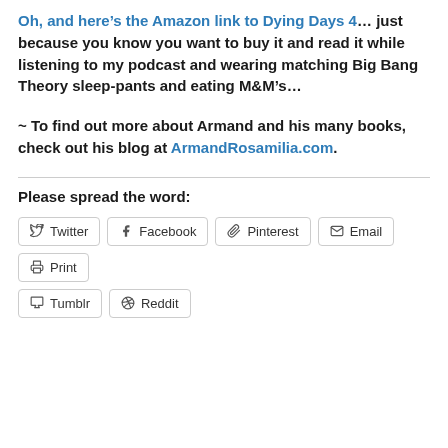Oh, and here’s the Amazon link to Dying Days 4… just because you know you want to buy it and read it while listening to my podcast and wearing matching Big Bang Theory sleep-pants and eating M&M’s…
~ To find out more about Armand and his many books, check out his blog at ArmandRosamilia.com.
Please spread the word:
Twitter Facebook Pinterest Email Print Tumblr Reddit